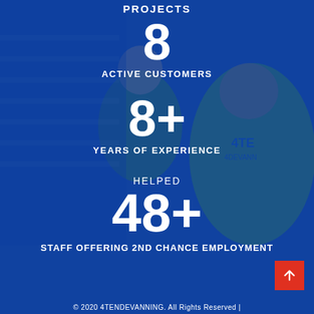PROJECTS
8
ACTIVE CUSTOMERS
8+
YEARS OF EXPERIENCE
HELPED
48+
STAFF OFFERING 2ND CHANCE EMPLOYMENT
© 2020 4TENDEVANNING. All Rights Reserved |